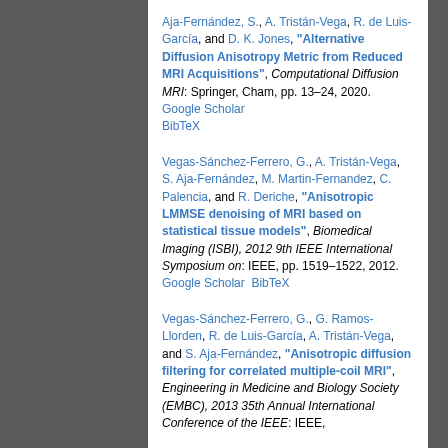Aja-Fernández, S., A. Tristán-Vega, R. de Luis-García, and D. K. Jones, "Alternative Diffusion Anisotropy Metric from Reduced MRI Acquisitions", Computational Diffusion MRI: Springer, Cham, pp. 13–24, 2020. Google Scholar BibTeX
Vegas-Sánchez-Ferrero, G., A. Tristán-Vega, S. Aja-Fernández, M. Martin-Fernandez, C. Palencia, and R. Deriche, "Anisotropic LMMSE denoising of MRI based on statistical tissue models", Biomedical Imaging (ISBI), 2012 9th IEEE International Symposium on: IEEE, pp. 1519–1522, 2012. Google Scholar BibTeX
Vegas-Sánchez-Ferrero, G., G. Ramos-Llorden, R. de Luis-García, A. Tristán-Vega, and S. Aja-Fernández, "Anisotropic diffusion filtering for correlated multiple-coil MRI", Engineering in Medicine and Biology Society (EMBC), 2013 35th Annual International Conference of the IEEE: IEEE,